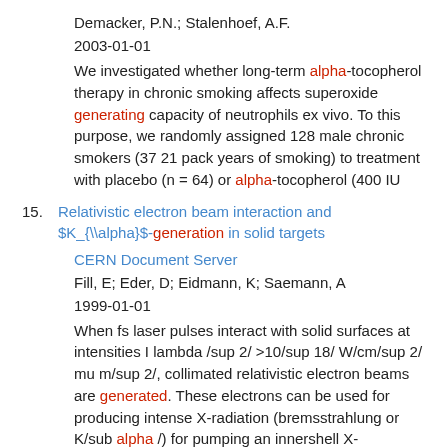Demacker, P.N.; Stalenhoef, A.F.
2003-01-01
We investigated whether long-term alpha-tocopherol therapy in chronic smoking affects superoxide generating capacity of neutrophils ex vivo. To this purpose, we randomly assigned 128 male chronic smokers (37 21 pack years of smoking) to treatment with placebo (n = 64) or alpha-tocopherol (400 IU
15. Relativistic electron beam interaction and $K_{\alpha}$-generation in solid targets
CERN Document Server
Fill, E; Eder, D; Eidmann, K; Saemann, A
1999-01-01
When fs laser pulses interact with solid surfaces at intensities I lambda /sup 2/ >10/sup 18/ W/cm/sup 2/ mu m/sup 2/, collimated relativistic electron beams are generated. These electrons can be used for producing intense X-radiation (bremsstrahlung or K/sub alpha /) for pumping an innershell X-